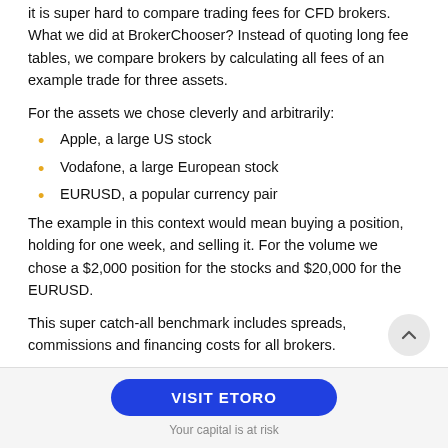it is super hard to compare trading fees for CFD brokers. What we did at BrokerChooser? Instead of quoting long fee tables, we compare brokers by calculating all fees of an example trade for three assets.
For the assets we chose cleverly and arbitrarily:
Apple, a large US stock
Vodafone, a large European stock
EURUSD, a popular currency pair
The example in this context would mean buying a position, holding for one week, and selling it. For the volume we chose a $2,000 position for the stocks and $20,000 for the EURUSD.
This super catch-all benchmark includes spreads, commissions and financing costs for all brokers.
Here is the verdict.
VISIT ETORO
Your capital is at risk